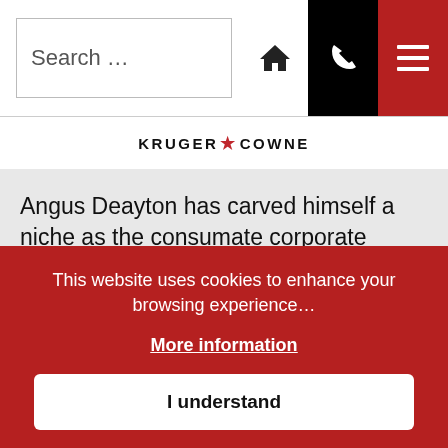Search ...
[Figure (logo): KRUGER COWNE logo with red star between words]
Angus Deayton has carved himself a niche as the consumate corporate Awards Host with his dry wit, his attention to detail and professionalism. He has also presented the BAFTA Awards, other projects
This website uses cookies to enhance your browsing experience...
More information
I understand